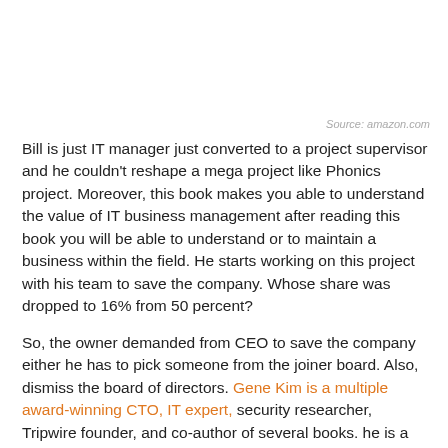Source: amazon.com
Bill is just IT manager just converted to a project supervisor and he couldn't reshape a mega project like Phonics project. Moreover, this book makes you able to understand the value of IT business management after reading this book you will be able to understand or to maintain a business within the field. He starts working on this project with his team to save the company. Whose share was dropped to 16% from 50 percent?
So, the owner demanded from CEO to save the company either he has to pick someone from the joiner board. Also, dismiss the board of directors. Gene Kim is a multiple award-winning CTO, IT expert, security researcher, Tripwire founder, and co-author of several books. he is a multitalented man and his services for the IT are